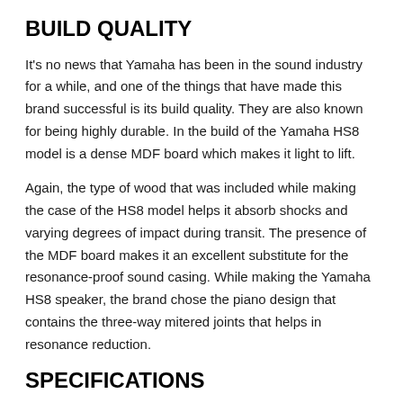BUILD QUALITY
It's no news that Yamaha has been in the sound industry for a while, and one of the things that have made this brand successful is its build quality. They are also known for being highly durable. In the build of the Yamaha HS8 model is a dense MDF board which makes it light to lift.
Again, the type of wood that was included while making the case of the HS8 model helps it absorb shocks and varying degrees of impact during transit. The presence of the MDF board makes it an excellent substitute for the resonance-proof sound casing. While making the Yamaha HS8 speaker, the brand chose the piano design that contains the three-way mitered joints that helps in resonance reduction.
SPECIFICATIONS